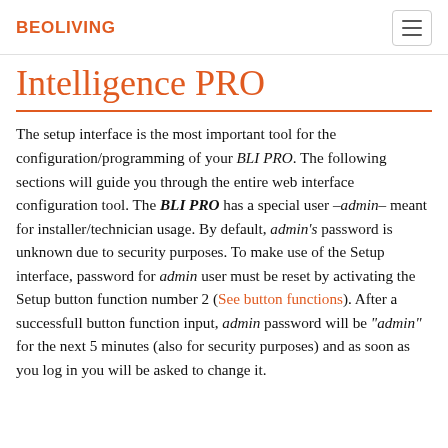BEOLIVING
Intelligence PRO
The setup interface is the most important tool for the configuration/programming of your BLI PRO. The following sections will guide you through the entire web interface configuration tool. The BLI PRO has a special user -admin- meant for installer/technician usage. By default, admin's password is unknown due to security purposes. To make use of the Setup interface, password for admin user must be reset by activating the Setup button function number 2 (See button functions). After a successfull button function input, admin password will be "admin" for the next 5 minutes (also for security purposes) and as soon as you log in you will be asked to change it.